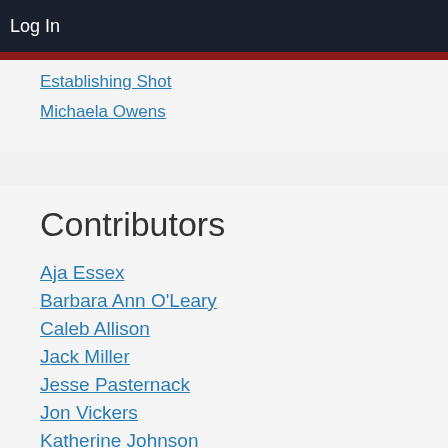Log In
Establishing Shot
Michaela Owens
Contributors
Aja Essex
Barbara Ann O'Leary
Caleb Allison
Jack Miller
Jesse Pasternack
Jon Vickers
Katherine Johnson
Laura Ivins
Nathaniel Sexton
Noni Ford